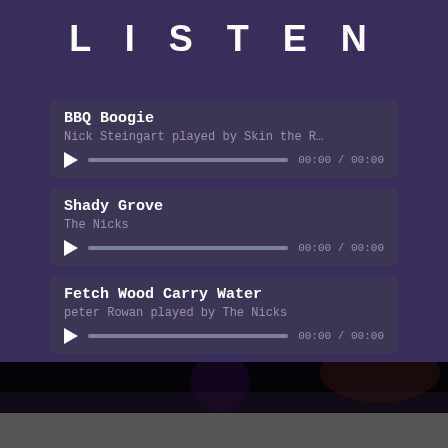LISTEN
BBQ Boogie
Nick Steingart played by Skin the R…
00:00 / 00:00
Shady Grove
The Nicks
00:00 / 00:00
Fetch Wood Carry Water
peter Rowan played by The Nicks
00:00 / 00:00
[Figure (screenshot): Dark image strip showing top of a video thumbnail]
VIDEOS
[Figure (screenshot): Bottom strip of video thumbnail content]